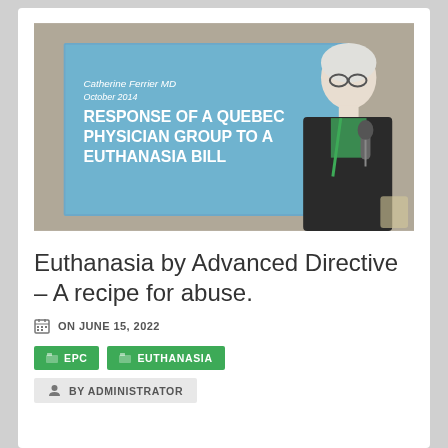[Figure (photo): Photo of a woman with short white hair and glasses, wearing a black jacket and green top, speaking at a podium with a microphone. Behind her is a presentation slide reading 'RESPONSE OF A QUEBEC PHYSICIAN GROUP TO A EUTHANASIA BILL' by Catherine Ferrier MD, October 2014.]
Euthanasia by Advanced Directive – A recipe for abuse.
ON JUNE 15, 2022
EPC
EUTHANASIA
BY ADMINISTRATOR